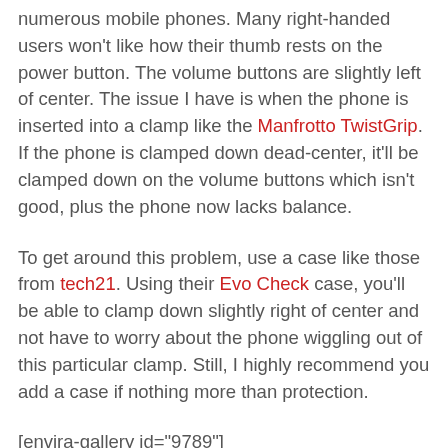numerous mobile phones. Many right-handed users won't like how their thumb rests on the power button. The volume buttons are slightly left of center. The issue I have is when the phone is inserted into a clamp like the Manfrotto TwistGrip. If the phone is clamped down dead-center, it'll be clamped down on the volume buttons which isn't good, plus the phone now lacks balance.
To get around this problem, use a case like those from tech21. Using their Evo Check case, you'll be able to clamp down slightly right of center and not have to worry about the phone wiggling out of this particular clamp. Still, I highly recommend you add a case if nothing more than protection.
[envira-gallery id="9789"] With respect to design, the aluminum unibody is not slippery in my hands. In fact, I have yet to drop the phone over the past month. The fingerprint sensor is